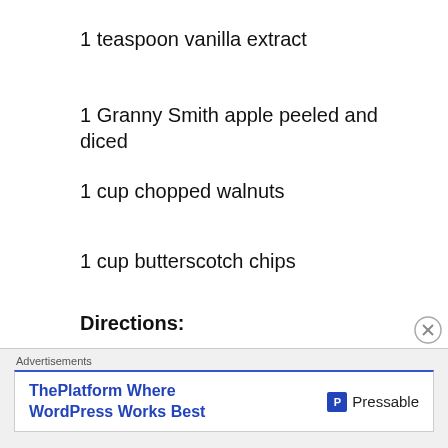1 teaspoon vanilla extract
1 Granny Smith apple peeled and diced
1 cup chopped walnuts
1 cup butterscotch chips
Directions:
Preheat oven to 350 F. Line two baking sheets with parchment paper.
[Figure (other): Advertisement banner: ThePlatform Where WordPress Works Best — Pressable]